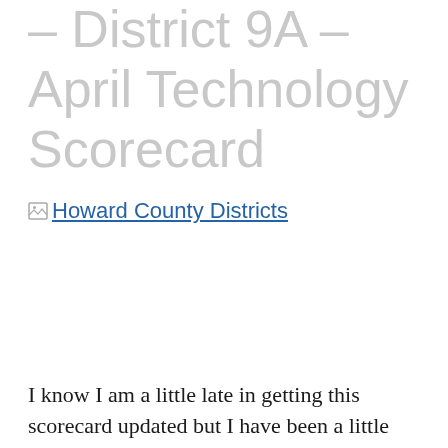– District 9A – April Technology Scorecard
[Figure (other): Broken image placeholder with link text 'Howard County Districts']
I know I am a little late in getting this scorecard updated but I have been a little busy getting